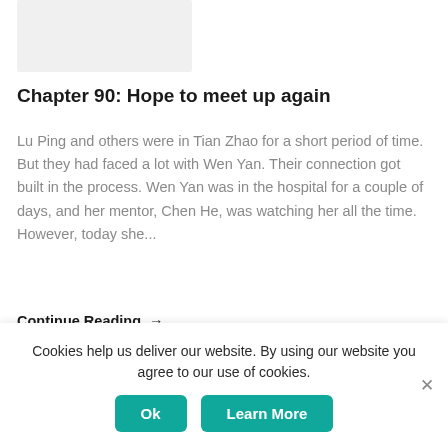[Figure (other): Gray placeholder image rectangle at top of page]
Chapter 90: Hope to meet up again
Lu Ping and others were in Tian Zhao for a short period of time. But they had faced a lot with Wen Yan. Their connection got built in the process. Wen Yan was in the hospital for a couple of days, and her mentor, Chen He, was watching her all the time. However, today she...
Continue Reading →
[Figure (other): Gray placeholder image rectangle below continue reading link]
Cookies help us deliver our website. By using our website you agree to our use of cookies.